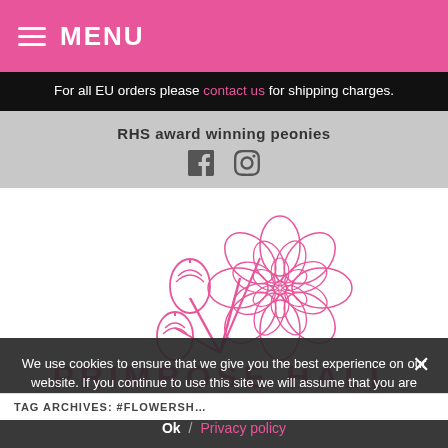MENU
For all EU orders please contact us for shipping charges.
RHS award winning peonies
[Figure (logo): Primrose Hall peony flower logo — pink line-art illustration of peonies with buds and stems, with text 'PRIMROSE HALL' in large pink letters below]
We use cookies to ensure that we give you the best experience on our website. If you continue to use this site we will assume that you are happy with it.
Ok / Privacy policy
TAG ARCHIVES: #FLOWERSH...